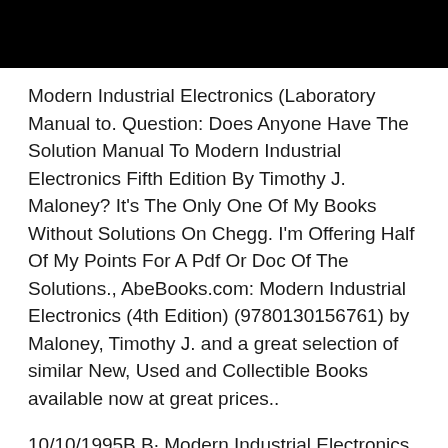[Figure (other): Black header bar at top of page, partially obscuring text above]
Modern Industrial Electronics (Laboratory Manual to. Question: Does Anyone Have The Solution Manual To Modern Industrial Electronics Fifth Edition By Timothy J. Maloney? It's The Only One Of My Books Without Solutions On Chegg. I'm Offering Half Of My Points For A Pdf Or Doc Of The Solutions., AbeBooks.com: Modern Industrial Electronics (4th Edition) (9780130156761) by Maloney, Timothy J. and a great selection of similar New, Used and Collectible Books available now at great prices..
10/10/1995B B· Modern Industrial Electronics book. Read 9 reviews from the world's largest